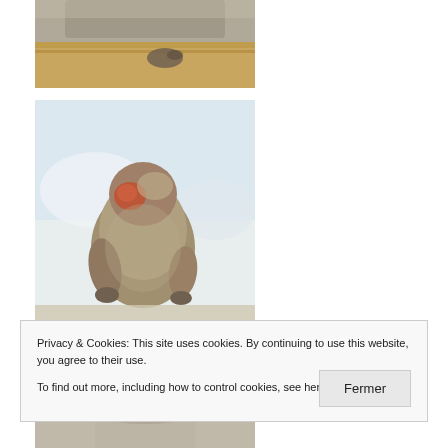[Figure (photo): Close-up photo of a snow monkey (Japanese macaque) resting near a wooden surface, showing fur and a hand/paw.]
[Figure (photo): Photo of a Japanese snow monkey sitting with its back turned, showing fluffy grey-brown fur and a red face in profile, against a snowy white background.]
Privacy & Cookies: This site uses cookies. By continuing to use this website, you agree to their use.
To find out more, including how to control cookies, see here: Cookie Policy
Fermer
[Figure (photo): Partial photo of a snow monkey, showing the top of its head and fur, cropped at the bottom of the page.]